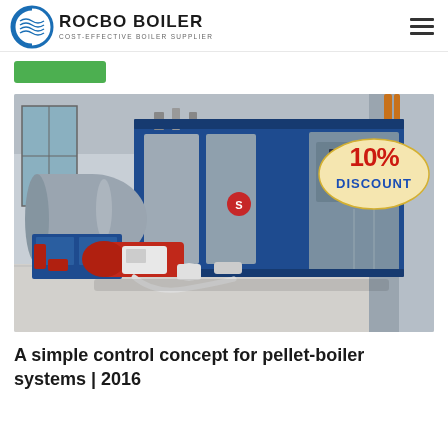ROCBO BOILER — COST-EFFECTIVE BOILER SUPPLIER
[Figure (photo): Industrial gas/oil fired steam boiler (blue and silver cabinet-style unit) with a red burner at the front, photographed in a factory/warehouse setting. A '10% DISCOUNT' badge overlay is in the upper-right of the image.]
A simple control concept for pellet-boiler systems | 2016